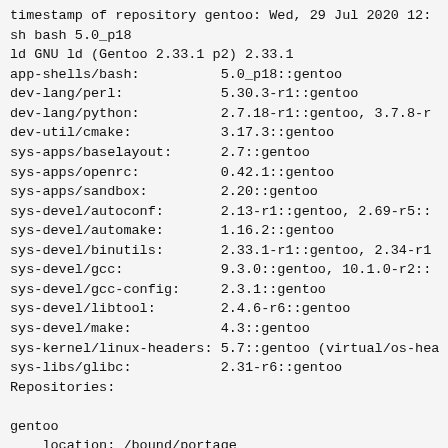timestamp of repository gentoo: Wed, 29 Jul 2020 12:...
sh bash 5.0_p18
ld GNU ld (Gentoo 2.33.1 p2) 2.33.1
app-shells/bash:          5.0_p18::gentoo
dev-lang/perl:            5.30.3-r1::gentoo
dev-lang/python:          2.7.18-r1::gentoo, 3.7.8-r...
dev-util/cmake:           3.17.3::gentoo
sys-apps/baselayout:      2.7::gentoo
sys-apps/openrc:          0.42.1::gentoo
sys-apps/sandbox:         2.20::gentoo
sys-devel/autoconf:       2.13-r1::gentoo, 2.69-r5::...
sys-devel/automake:       1.16.2::gentoo
sys-devel/binutils:       2.33.1-r1::gentoo, 2.34-r1...
sys-devel/gcc:            9.3.0::gentoo, 10.1.0-r2::...
sys-devel/gcc-config:     2.3.1::gentoo
sys-devel/libtool:        2.4.6-r6::gentoo
sys-devel/make:           4.3::gentoo
sys-kernel/linux-headers: 5.7::gentoo (virtual/os-hea...
sys-libs/glibc:           2.31-r6::gentoo
Repositories:

gentoo
    location: /bound/portage
    sync-type: rsync
    sync-uri: rsync://rsync.gentoo.org/gentoo-portage...
    priority: -1000
    sync-rsync-extra-opts:
    sync-rsync-verify-metamanifest: yes
    sync-rsync-verify-max-age: 24
    sync-rsync-verify-jobs: 1